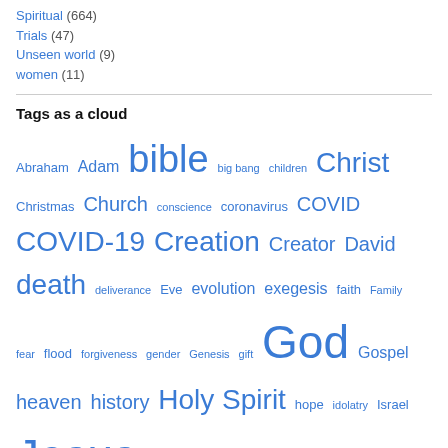Spiritual (664)
Trials (47)
Unseen world (9)
women (11)
Tags as a cloud
[Figure (infographic): Word cloud of tags including: Abraham, Adam, bible, big bang, children, Christ, Christmas, Church, conscience, coronavirus, COVID, COVID-19, Creation, Creator, David, death, deliverance, Eve, evolution, exegesis, faith, Family, fear, flood, forgiveness, gender, Genesis, gift, God, Gospel, heaven, history, Holy Spirit, hope, idolatry, Israel, Jesus, joy, judgment, language, law, life, Lord, Lord's supper, love, marriage, message, metaphor, miracle, Moses, myth, nature, Noah, origin — each sized proportionally to frequency]